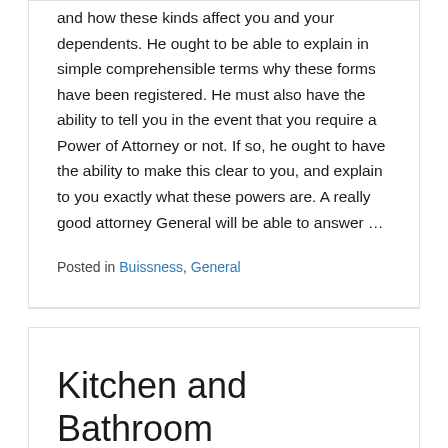and how these kinds affect you and your dependents. He ought to be able to explain in simple comprehensible terms why these forms have been registered. He must also have the ability to tell you in the event that you require a Power of Attorney or not. If so, he ought to have the ability to make this clear to you, and explain to you exactly what these powers are. A really good attorney General will be able to answer …
Posted in Buissness, General
Kitchen and Bathroom Renovation